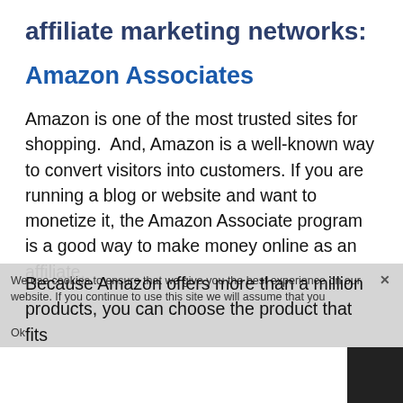affiliate marketing networks:
Amazon Associates
Amazon is one of the most trusted sites for shopping.  And, Amazon is a well-known way to convert visitors into customers. If you are running a blog or website and want to monetize it, the Amazon Associate program is a good way to make money online as an affiliate.
We use cookies to ensure that we give you the best experience on our website. If you continue to use this site we will assume that you
Because Amazon offers more than a million products, you can choose the product that fi